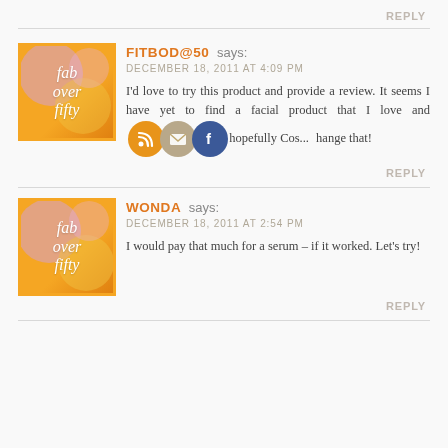REPLY
FITBOD@50 says:
DECEMBER 18, 2011 AT 4:09 PM
I'd love to try this product and provide a review. It seems I have yet to find a facial product that I love and [icons] hopefully Cos... [icons] hange that!
REPLY
WONDA says:
DECEMBER 18, 2011 AT 2:54 PM
I would pay that much for a serum – if it worked. Let's try!
REPLY